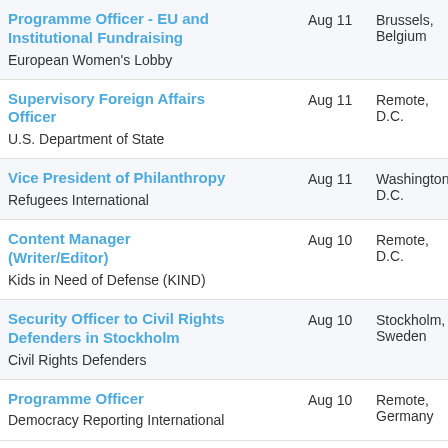Programme Officer - EU and Institutional Fundraising | European Women's Lobby | Aug 11 | Brussels, Belgium
Supervisory Foreign Affairs Officer | U.S. Department of State | Aug 11 | Remote, D.C.
Vice President of Philanthropy | Refugees International | Aug 11 | Washington, D.C.
Content Manager (Writer/Editor) | Kids in Need of Defense (KIND) | Aug 10 | Remote, D.C.
Security Officer to Civil Rights Defenders in Stockholm | Civil Rights Defenders | Aug 10 | Stockholm, Sweden
Programme Officer | Democracy Reporting International | Aug 10 | Remote, Germany